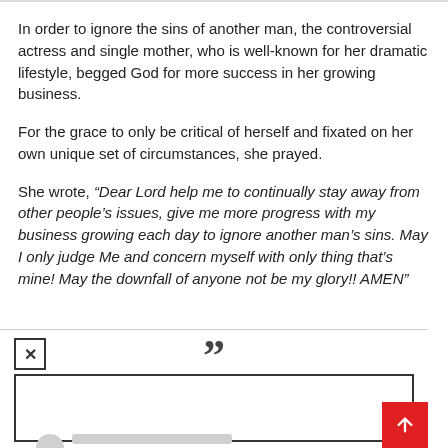In order to ignore the sins of another man, the controversial actress and single mother, who is well-known for her dramatic lifestyle, begged God for more success in her growing business.
For the grace to only be critical of herself and fixated on her own unique set of circumstances, she prayed.
She wrote, “Dear Lord help me to continually stay away from other people’s issues, give me more progress with my business growing each day to ignore another man’s sins. May I only judge Me and concern myself with only thing that’s mine! May the downfall of anyone not be my glory!! AMEN”
[Figure (screenshot): A social media comment widget showing a close button (X), a large quotation mark icon, and a bordered text input box with a placeholder avatar and grey lines. A red scroll-to-top button with an upward arrow is in the bottom right corner.]